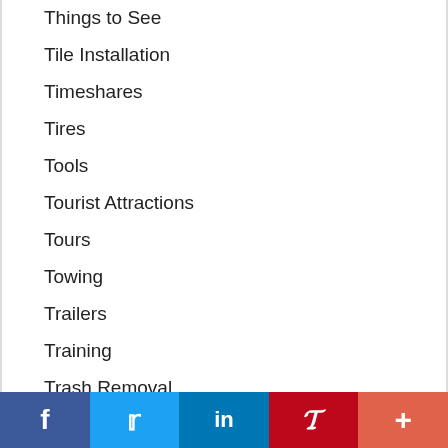Things to See
Tile Installation
Timeshares
Tires
Tools
Tourist Attractions
Tours
Towing
Trailers
Training
Trash Removal
Travel
Travel Agents
Travel and Tours